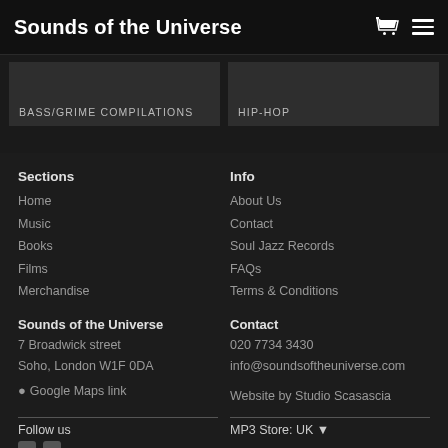Sounds of the Universe
BASS/GRIME COMPILATIONS
HIP-HOP
Sections
Home
Music
Books
Films
Merchandise
Info
About Us
Contact
Soul Jazz Records
FAQs
Terms & Conditions
Sounds of the Universe
7 Broadwick street
Soho, London W1F 0DA
📍 Google Maps link
Contact
020 7734 3430
info@soundsoftheuniverse.com
Website by Studio Scasascia
Follow us
MP3 Store: UK ▾